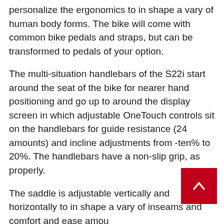personalize the ergonomics to in shape a vary of human body forms. The bike will come with common bike pedals and straps, but can be transformed to pedals of your option.
The multi-situation handlebars of the S22i start around the seat of the bike for nearer hand positioning and go up to around the display screen in which adjustable OneTouch controls sit on the handlebars for guide resistance (24 amounts) and incline adjustments from -ten% to 20%. The handlebars have a non-slip grip, as properly.
The saddle is adjustable vertically and horizontally to in shape a vary of inseams and comfort and ease amou...
The studio cycle will come with a 1-calendar year iFit membership, which presents you access to hundreds of